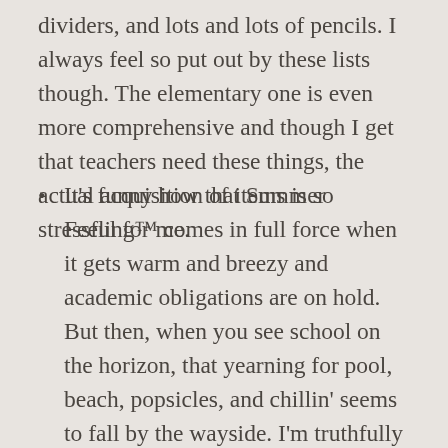dividers, and lots and lots of pencils. I always feel so put out by these lists though. The elementary one is even more comprehensive and though I get that teachers need these things, the actual acquisition of items is so stressful for me.
It's funny how that Summer Feeling™ comes in full force when it gets warm and breezy and academic obligations are on hold. But then, when you see school on the horizon, that yearning for pool, beach, popsicles, and chillin' seems to fall by the wayside. I'm truthfully starting to daydream about the first Fall Day. Except I just had a random image pop into my head about backyard grilling and being relaxed.